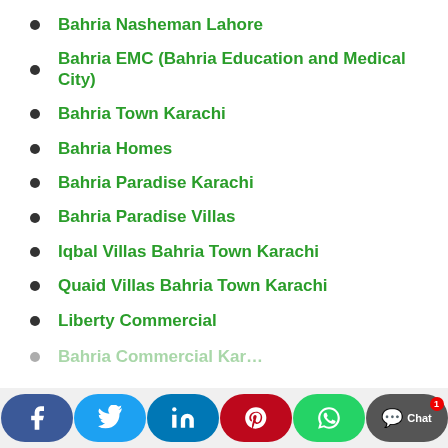Bahria Nasheman Lahore
Bahria EMC (Bahria Education and Medical City)
Bahria Town Karachi
Bahria Homes
Bahria Paradise Karachi
Bahria Paradise Villas
Iqbal Villas Bahria Town Karachi
Quaid Villas Bahria Town Karachi
Liberty Commercial
Bahria Commercial Kar…